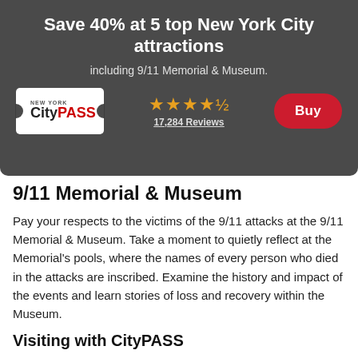Save 40% at 5 top New York City attractions
including 9/11 Memorial & Museum.
[Figure (logo): New York CityPASS logo on white ticket-shaped background with notches]
★★★★½ 17,284 Reviews
Buy
9/11 Memorial & Museum
Pay your respects to the victims of the 9/11 attacks at the 9/11 Memorial & Museum. Take a moment to quietly reflect at the Memorial's pools, where the names of every person who died in the attacks are inscribed. Examine the history and impact of the events and learn stories of loss and recovery within the Museum.
Visiting with CityPASS